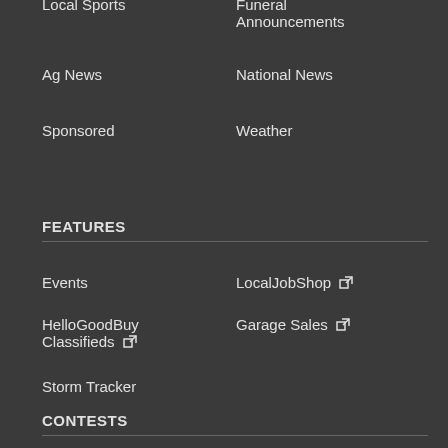Local Sports
Funeral Announcements
Ag News
National News
Sponsored
Weather
FEATURES
Events
LocalJobShop
HelloGoodBuy Classifieds
Garage Sales
Storm Tracker
CONTESTS